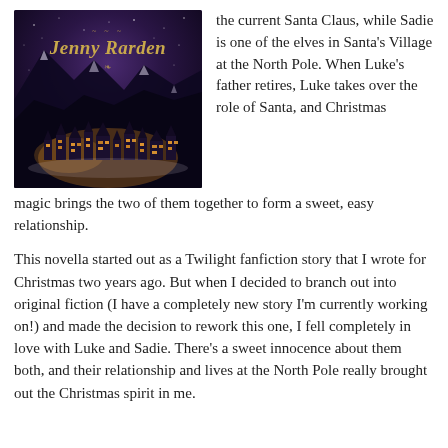[Figure (illustration): Book cover for Jenny Rarden showing a snowy mountain village at night with warm lights glowing from buildings, and the author name 'Jenny Rarden' in gold italic text at the top]
the current Santa Claus, while Sadie is one of the elves in Santa's Village at the North Pole. When Luke's father retires, Luke takes over the role of Santa, and Christmas magic brings the two of them together to form a sweet, easy relationship.
This novella started out as a Twilight fanfiction story that I wrote for Christmas two years ago. But when I decided to branch out into original fiction (I have a completely new story I'm currently working on!) and made the decision to rework this one, I fell completely in love with Luke and Sadie. There's a sweet innocence about them both, and their relationship and lives at the North Pole really brought out the Christmas spirit in me.